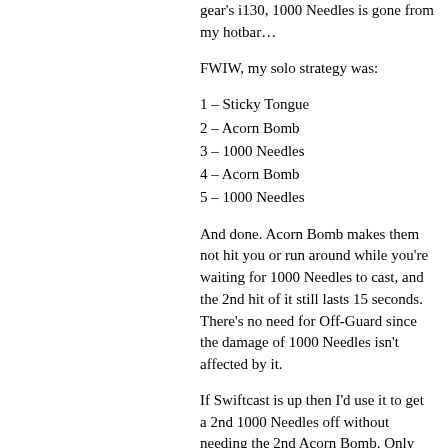gear's i130, 1000 Needles is gone from my hotbar…
FWIW, my solo strategy was:
1 – Sticky Tongue
2 – Acorn Bomb
3 – 1000 Needles
4 – Acorn Bomb
5 – 1000 Needles
And done. Acorn Bomb makes them not hit you or run around while you're waiting for 1000 Needles to cast, and the 2nd hit of it still lasts 15 seconds. There's no need for Off-Guard since the damage of 1000 Needles isn't affected by it.
If Swiftcast is up then I'd use it to get a 2nd 1000 Needles off without needing the 2nd Acorn Bomb. Only once a minute, but … it helped.